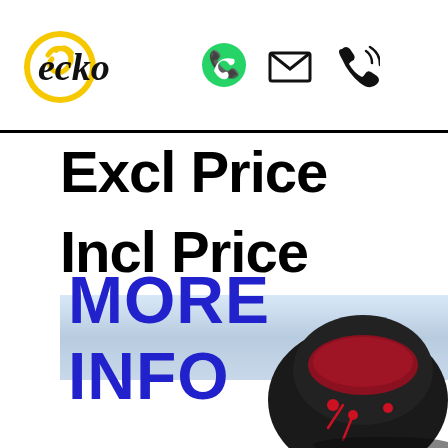ecko [logo with phone, email, WhatsApp icons]
Excl Price
Incl Price
MORE INFO
[Figure (photo): Black and red jacket/bag product image in bottom right corner]